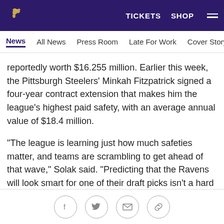Baltimore Ravens navigation bar with logo, TICKETS, SHOP, and menu
News | All News | Press Room | Late For Work | Cover Story | Soc...
reportedly worth $16.255 million. Earlier this week, the Pittsburgh Steelers' Minkah Fitzpatrick signed a four-year contract extension that makes him the league's highest paid safety, with an average annual value of $18.4 million.
"The league is learning just how much safeties matter, and teams are scrambling to get ahead of that wave," Solak said. "Predicting that the Ravens will look smart for one of their draft picks isn't a hard bet to make. They're an easy team to trust. But the Hamilton pick should look smart for a myriad of reasons.
Social share icons: Facebook, Twitter, Email, Link